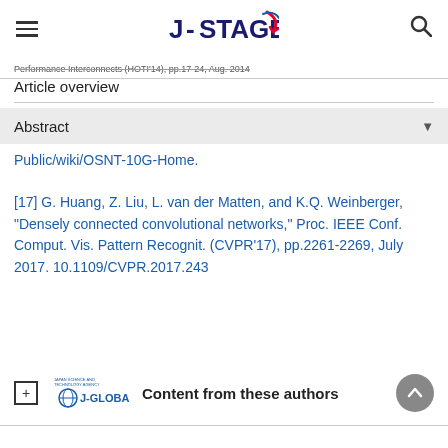J-STAGE
Performance Interconnects (HOTI'14), pp.17-24, Aug. 2014
Article overview
Abstract
Public/wiki/OSNT-10G-Home.
[17] G. Huang, Z. Liu, L. van der Matten, and K.Q. Weinberger, "Densely connected convolutional networks," Proc. IEEE Conf. Comput. Vis. Pattern Recognit. (CVPR'17), pp.2261-2269, July 2017. 10.1109/CVPR.2017.243
Content from these authors